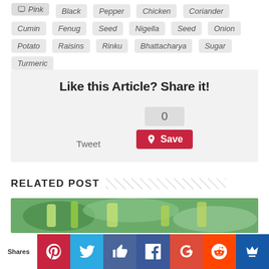Pink  Black  Pepper  Chicken  Coriander  Cumin  Fenug Seed  Nigella Seed  Onion  Potato  Raisins  Rinku Bhattacharya  Sugar  Turmeric
Like this Article? Share it!
0
Tweet
Save
RELATED POST
[Figure (photo): Related post thumbnail image showing vegetables/food in green tones]
Shares